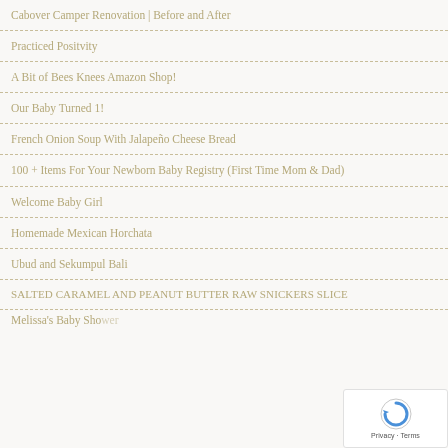Cabover Camper Renovation | Before and After
Practiced Positvity
A Bit of Bees Knees Amazon Shop!
Our Baby Turned 1!
French Onion Soup With Jalapeño Cheese Bread
100 + Items For Your Newborn Baby Registry (First Time Mom & Dad)
Welcome Baby Girl
Homemade Mexican Horchata
Ubud and Sekumpul Bali
SALTED CARAMEL AND PEANUT BUTTER RAW SNICKERS SLICE
Melissa's Baby Shower